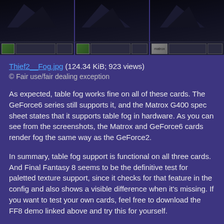[Figure (screenshot): Three side-by-side dark screenshots showing fog rendering, each with a small thumbnail strip at the bottom]
Thief2__Fog.jpg (124.34 KiB; 923 views)
© Fair use/fair dealing exception
As expected, table fog works fine on all of these cards. The GeForce6 series still supports it, and the Matrox G400 spec sheet states that it supports table fog in hardware. As you can see from the screenshots, the Matrox and GeForce6 cards render fog the same way as the GeForce2.
In summary, table fog support is functional on all three cards. And Final Fantasy 8 seems to be the definitive test for paletted texture support, since it checks for that feature in the config and also shows a visible difference when it's missing. If you want to test your own cards, feel free to download the FF8 demo linked above and try this for yourself.